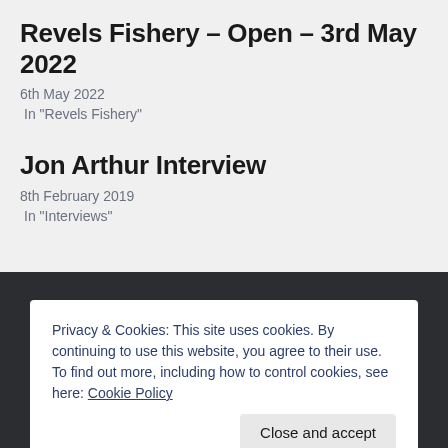Revels Fishery – Open – 3rd May 2022
6th May 2022
In "Revels Fishery"
Jon Arthur Interview
8th February 2019
In "Interviews"
Privacy & Cookies: This site uses cookies. By continuing to use this website, you agree to their use.
To find out more, including how to control cookies, see here: Cookie Policy